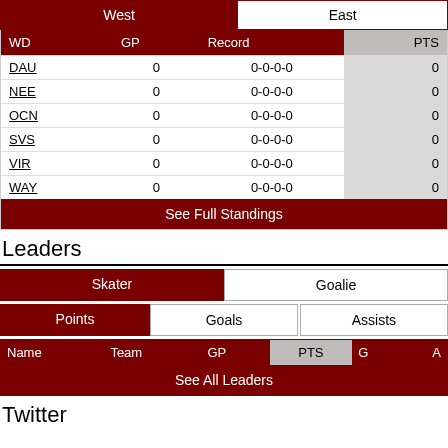| WD | GP | Record | PTS |
| --- | --- | --- | --- |
| DAU | 0 | 0-0-0-0 | 0 |
| NEE | 0 | 0-0-0-0 | 0 |
| OCN | 0 | 0-0-0-0 | 0 |
| SVS | 0 | 0-0-0-0 | 0 |
| VIR | 0 | 0-0-0-0 | 0 |
| WAY | 0 | 0-0-0-0 | 0 |
Leaders
| Name | Team | GP | PTS | G | A |
| --- | --- | --- | --- | --- | --- |